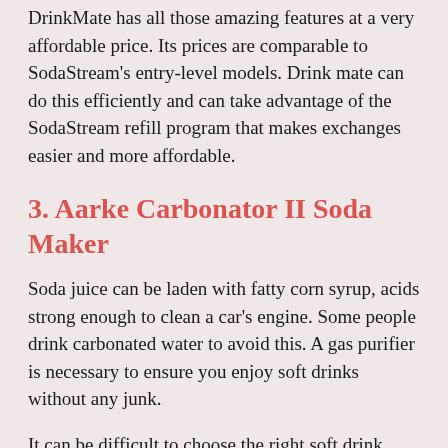DrinkMate has all these amazing features at a very affordable price. Its prices are comparable to SodaStream's entry-level models. Drink mate can do this efficiently and can take advantage of the SodaStream refill program that makes exchanges easier and more affordable.
3. Aarke Carbonator II Soda Maker
Soda juice can be laden with fatty corn syrup, acids strong enough to clean a car's engine. Some people drink carbonated water to avoid this. A gas purifier is necessary to ensure you enjoy soft drinks without any junk.
It can be difficult to choose the right soft drink maker. Although we cannot guarantee that Aarke Carbonator I Soda Maker will be the best, we think it is one of the best. We have not been able to review the Aarke carbonator.